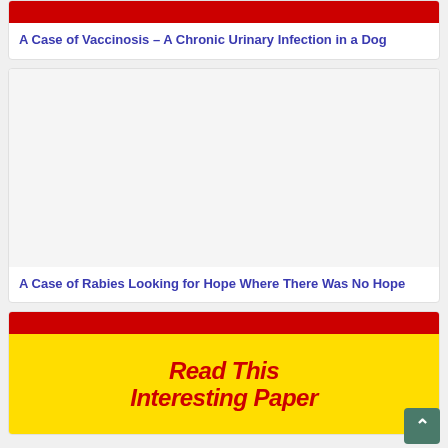[Figure (other): Red banner image at top of first card]
A Case of Vaccinosis – A Chronic Urinary Infection in a Dog
[Figure (other): Large white/blank image area for second article card about rabies]
A Case of Rabies Looking for Hope Where There Was No Hope
[Figure (other): Red banner and yellow promotional area with text 'Read This Interesting Paper']